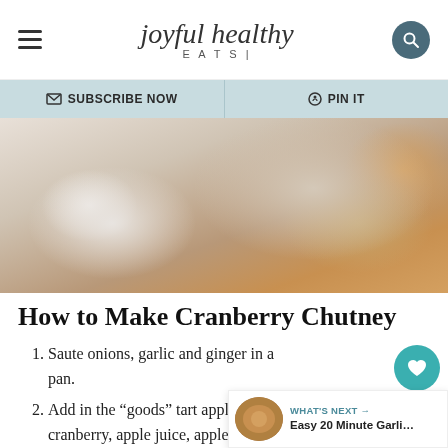joyful healthy EATS
✉ SUBSCRIBE NOW   ♡ PIN IT
[Figure (photo): Overhead view of a white plate with food including what appears to be a dish with cranberry chutney, silverware and a striped cloth napkin on a marble surface]
How to Make Cranberry Chutney
Saute onions, garlic and ginger in a pan.
Add in the “goods” tart apples, cranberry, apple juice, apple v… and mustard seed for a little zing.